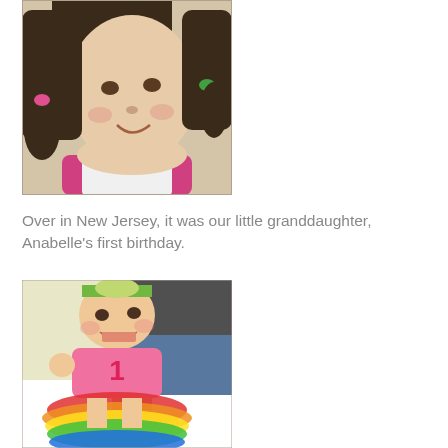[Figure (photo): A young girl with pigtails wearing a pink and white outfit, smiling and looking to the side]
Over in New Jersey, it was our little granddaughter, Anabelle's first birthday.
[Figure (photo): A baby girl wearing a pink '1st birthday' onesie with a colorful rainbow tutu, standing with help from an adult, wearing a floral headband]